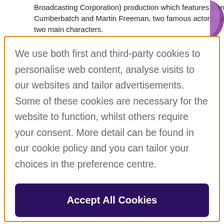Broadcasting Corporation) production which features Benedict Cumberbatch and Martin Freeman, two famous actors, as the two main characters.
We use both first and third-party cookies to personalise web content, analyse visits to our websites and tailor advertisements. Some of these cookies are necessary for the website to function, whilst others require your consent. More detail can be found in our cookie policy and you can tailor your choices in the preference centre.
Accept All Cookies
Cookies Settings